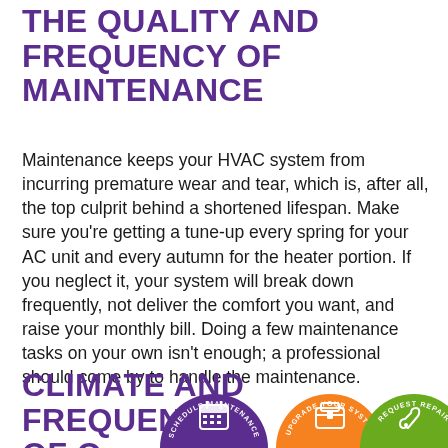THE QUALITY AND FREQUENCY OF MAINTENANCE
Maintenance keeps your HVAC system from incurring premature wear and tear, which is, after all, the top culprit behind a shortened lifespan. Make sure you're getting a tune-up every spring for your AC unit and every autumn for the heater portion. If you neglect it, your system will break down frequently, not deliver the comfort you want, and raise your monthly bill. Doing a few maintenance tasks on your own isn't enough; a professional should come by to handle the maintenance.
CLIMATE AND FREQUENCY OF O...
[Figure (infographic): Three circular badge icons at the bottom: purple 'SCHEDULE MAINTENANCE' with calendar icon, orange 'UPGRADE YOUR SYSTEM' with toolbox icon, green 'REQUEST REPAIR' with wrench icon]